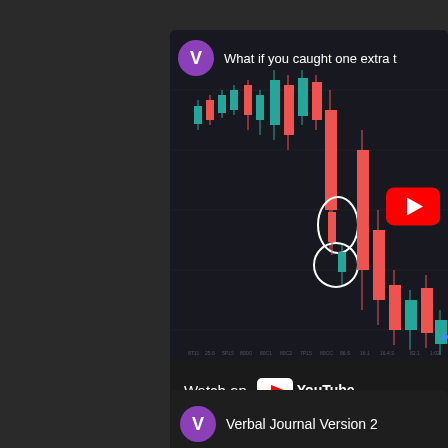[Figure (screenshot): YouTube video thumbnail showing a candlestick trading chart with red and green candles on a dark background. Two white circles are drawn on the chart highlighting specific candlestick patterns. A YouTube play button (red) is visible on the right side of the chart. The video title 'What if you caught one extra t...' is shown at the top with a purple 'V' avatar icon. A 'Watch on YouTube' bar is at the bottom of the video embed.]
What if you caught one extra t
Watch on YouTube
Verbal Journal Version 2